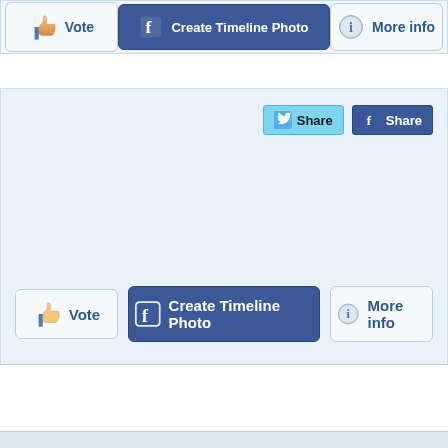[Figure (screenshot): Top action bar with Vote, Create Timeline Photo, and More info buttons on a light blue background]
[Figure (screenshot): Main panel with light blue background containing Twitter Share and Facebook Share buttons at top right, and Vote, Create Timeline Photo, More info buttons at bottom]
[Figure (screenshot): Bottom strip - thin light blue border strip]